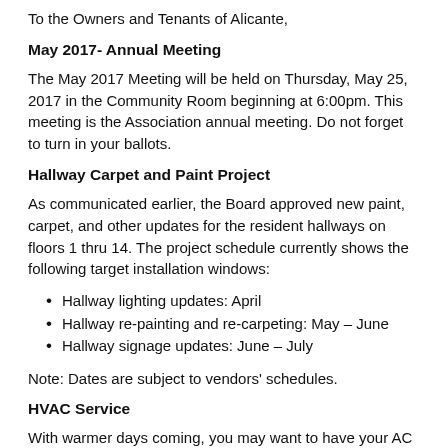To the Owners and Tenants of Alicante,
May 2017- Annual Meeting
The May 2017 Meeting will be held on Thursday, May 25, 2017 in the Community Room beginning at 6:00pm. This meeting is the Association annual meeting. Do not forget to turn in your ballots.
Hallway Carpet and Paint Project
As communicated earlier, the Board approved new paint, carpet, and other updates for the resident hallways on floors 1 thru 14. The project schedule currently shows the following target installation windows:
Hallway lighting updates: April
Hallway re-painting and re-carpeting: May – June
Hallway signage updates: June – July
Note: Dates are subject to vendors' schedules.
HVAC Service
With warmer days coming, you may want to have your AC system checked. For more info, you may want to refer